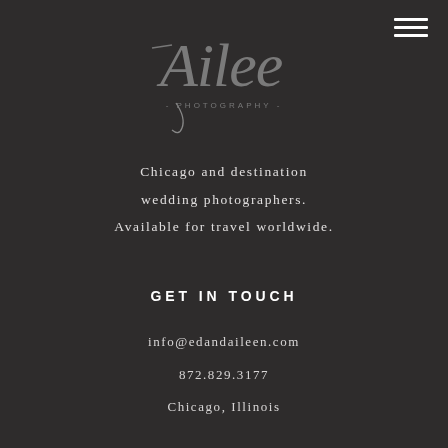[Figure (logo): Ailleen Photography cursive script logo with decorative lettering and '- PHOTOGRAPHY -' text underneath, rendered in gray on dark background]
Chicago and destination wedding photographers. Available for travel worldwide.
GET IN TOUCH
info@edandaileen.com
872.829.3177
Chicago, Illinois